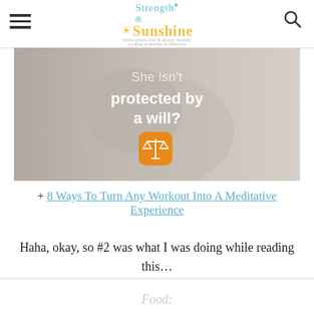Strength & Sunshine
[Figure (photo): Advertisement image showing a sleeping baby with text overlay 'She isn't protected by a will?' and an orange scales of justice icon]
+ 8 Ways To Turn Any Workout Into A Meditative Experience
Haha, okay, so #2 was what I was doing while reading this...
Food: